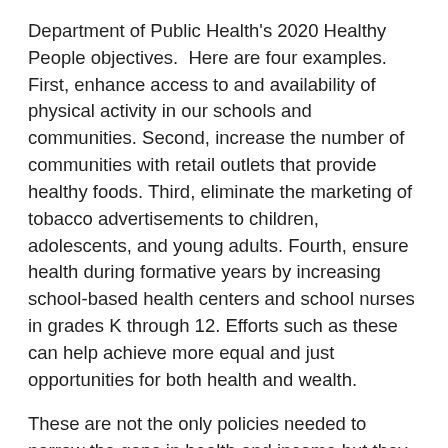Department of Public Health's 2020 Healthy People objectives.  Here are four examples. First, enhance access to and availability of physical activity in our schools and communities. Second, increase the number of communities with retail outlets that provide healthy foods. Third, eliminate the marketing of tobacco advertisements to children, adolescents, and young adults. Fourth, ensure health during formative years by increasing school-based health centers and school nurses in grades K through 12. Efforts such as these can help achieve more equal and just opportunities for both health and wealth.
These are not the only policies needed to narrow the gaps in health and income but they are a place to start. It is time to move from raising awareness to implementing solutions. It is time to move from occupation to action
Authors of this post:  Stephen M. Shortell, dean of the School of Public Health-UC Berkeley, and Joe Schuchter, School of